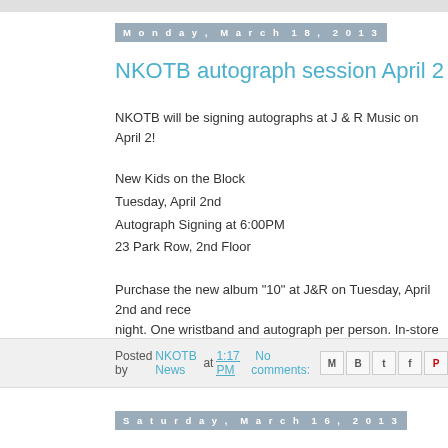Monday, March 18, 2013
NKOTB autograph session April 2 in New...
NKOTB will be signing autographs at J & R Music on April 2!
New Kids on the Block
Tuesday, April 2nd
Autograph Signing at 6:00PM
23 Park Row, 2nd Floor
Purchase the new album "10" at J&R on Tuesday, April 2nd and rece... night. One wristband and autograph per person. In-store only, while...
Posted by NKOTB News at 1:17 PM  No comments:
Saturday, March 16, 2013